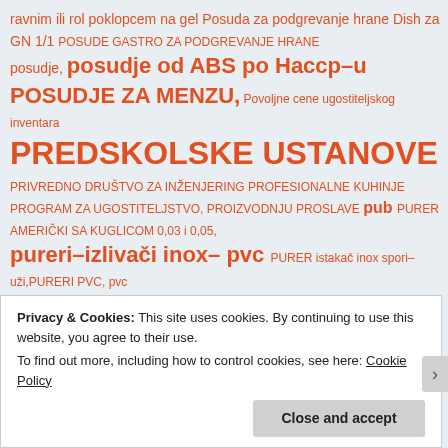ravnim ili rol poklopcem na gel Posuda za podgrevanje hrane Dish za GN 1/1 POSUDE GASTRO ZA PODGREVANJE HRANE posudje, posudje od ABS po Haccp–u POSUDJE ZA MENZU, Povoljne cene ugostiteljskog inventara PREDSKOLSKE USTANOVE PRIVREDNO DRUŠTVO ZA INŽENJERING PROFESIONALNE KUHINJE PROGRAM ZA UGOSTITELJSTVO, PROIZVODNJU PROSLAVE pub PURER AMERIČKI SA KUGLICOM 0,03 i 0,05, pureri–izlivači inox– pvc PURER istakač inox spori–uži,PURERI PVC, pvc čaše RASHLADNI STO rehabilitacionoh RENDE restoran RESTORANI restorani društvene ishrane Restorani za društvenu
Privacy & Cookies: This site uses cookies. By continuing to use this website, you agree to their use.
To find out more, including how to control cookies, see here: Cookie Policy
Close and accept